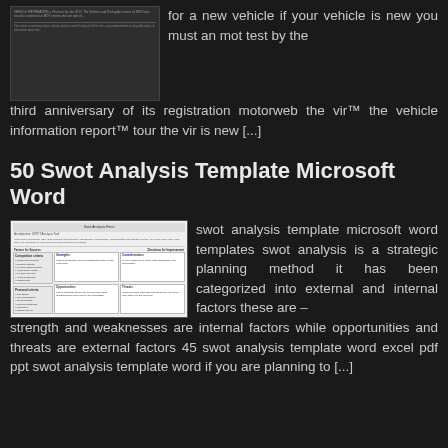[Figure (screenshot): Screenshot of a document page about vehicle MOT test information]
for a new vehicle if your vehicle is new you must an mot test by the third anniversary of its registration motorweb the vir™ the vehicle information report™ tour the vir is new [...]
50 Swot Analysis Template Microsoft Word
[Figure (screenshot): Screenshot of a SWOT analysis template in Microsoft Word showing a table with four quadrants: Strengths, Weaknesses, Opportunities, Threats]
swot analysis template microsoft word templates swot analysis is a strategic planning method it has been categorized into external and internal factors these are – strength and weaknesses are internal factors while opportunities and threats are external factors 45 swot analysis template word excel pdf ppt swot analysis template word if you are planning to [...]